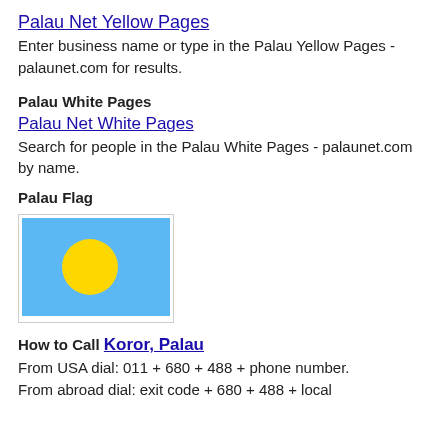Palau Net Yellow Pages
Enter business name or type in the Palau Yellow Pages - palaunet.com for results.
Palau White Pages
Palau Net White Pages
Search for people in the Palau White Pages - palaunet.com by name.
Palau Flag
[Figure (illustration): Flag of Palau: light blue background with a yellow circle (sun) slightly left of center]
How to Call Koror, Palau
From USA dial: 011 + 680 + 488 + phone number. From abroad dial: exit code + 680 + 488 + local